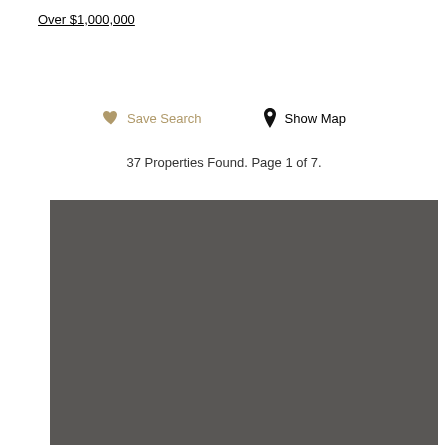Over $1,000,000
Save Search   Show Map
37 Properties Found. Page 1 of 7.
[Figure (photo): Large dark gray rectangular placeholder image for a property listing]